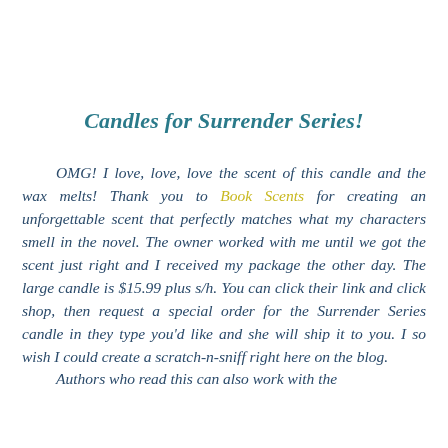Candles for Surrender Series!
OMG! I love, love, love the scent of this candle and the wax melts! Thank you to Book Scents for creating an unforgettable scent that perfectly matches what my characters smell in the novel. The owner worked with me until we got the scent just right and I received my package the other day. The large candle is $15.99 plus s/h. You can click their link and click shop, then request a special order for the Surrender Series candle in they type you'd like and she will ship it to you. I so wish I could create a scratch-n-sniff right here on the blog.
     Authors who read this can also work with the